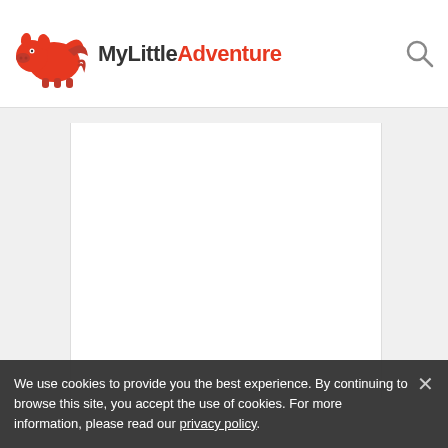MyLittle Adventure
[Figure (logo): MyLittleAdventure logo with red pig icon and text 'MyLittle' in dark gray and 'Adventure' in red, with a search icon on the right]
We use cookies to provide you the best experience. By continuing to browse this site, you accept the use of cookies. For more information, please read our privacy policy.